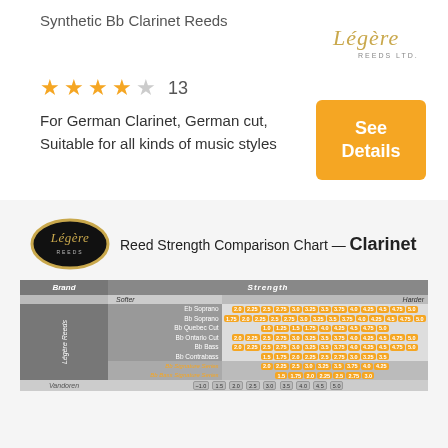Synthetic Bb Clarinet Reeds
[Figure (logo): Légère Reeds Ltd. logo - script text on white background]
★★★★☆ 13
For German Clarinet, German cut, Suitable for all kinds of music styles
[Figure (other): See Details button - gold/amber colored rectangle]
[Figure (other): Légère oval logo with gold border and Reed Strength Comparison Chart — Clarinet title]
| Brand | Strength (Softer to Harder) |
| --- | --- |
| Eb Soprano | 2.0 | 2.25 | 2.5 | 2.75 | 3.0 | 3.25 | 3.5 | 3.75 | 4.0 | 4.25 | 4.5 | 4.75 | 5.0 |
| Bb Soprano | 1.75 | 2.0 | 2.25 | 2.5 | 2.75 | 3.0 | 3.25 | 3.5 | 3.75 | 4.0 | 4.25 | 4.5 | 4.75 | 5.0 |
| Bb Quebec Cut | 1.0 | 1.25 | 1.5 | 1.75 | 4.0 | 4.25 | 4.5 | 4.75 | 5.0 |
| Bb Ontario Cut | 2.0 | 2.25 | 2.5 | 2.75 | 3.0 | 3.25 | 3.5 | 3.75 | 4.0 | 4.25 | 4.5 | 4.75 | 5.0 |
| Bb Bass | 2.0 | 2.25 | 2.5 | 2.75 | 3.0 | 3.25 | 3.5 | 3.75 | 4.0 | 4.25 | 4.5 | 4.75 | 5.0 |
| Bb Contrabass | 1.5 | 1.75 | 2.0 | 2.25 | 2.5 | 2.75 | 3.0 | 3.25 | 3.5 |
| Bb Signature Series | 2.0 | 2.25 | 2.5 | 3.0 | 3.25 | 3.5 | 3.75 | 4.0 | 4.25 |
| Bb Bass Signature Series | 1.5 | 1.75 | 2.0 | 2.25 | 2.5 | 2.75 | 3.0 |
| Vandoren | ~1.0 | 1.5 | 2.0 | 2.5 | 3.0 | 3.5 | 4.0 | 4.5 | 5.0 |